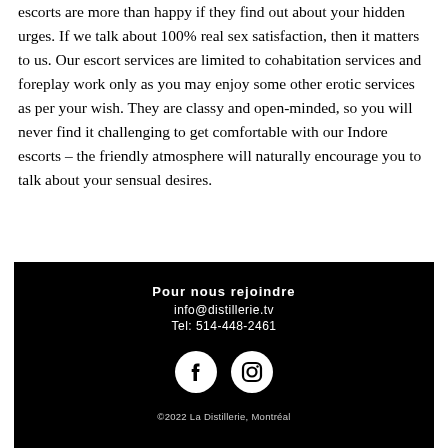escorts are more than happy if they find out about your hidden urges. If we talk about 100% real sex satisfaction, then it matters to us. Our escort services are limited to cohabitation services and foreplay work only as you may enjoy some other erotic services as per your wish. They are classy and open-minded, so you will never find it challenging to get comfortable with our Indore escorts – the friendly atmosphere will naturally encourage you to talk about your sensual desires.
Pour nous rejoindre
info@distillerie.tv
Tel: 514-448-2461
©2022 La Distillerie, Montréal